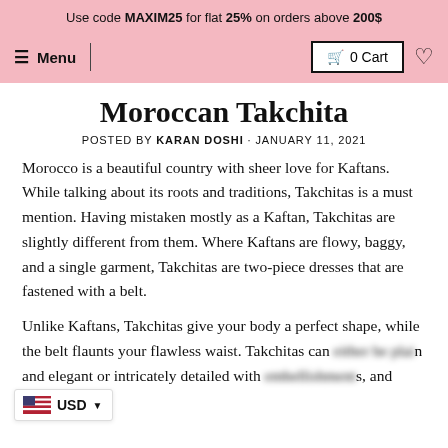Use code MAXIM25 for flat 25% on orders above 200$
≡ Menu | 🛒 0 Cart ♡
Moroccan Takchita
POSTED BY KARAN DOSHI · JANUARY 11, 2021
Morocco is a beautiful country with sheer love for Kaftans. While talking about its roots and traditions, Takchitas is a must mention. Having mistaken mostly as a Kaftan, Takchitas are slightly different from them. Where Kaftans are flowy, baggy, and a single garment, Takchitas are two-piece dresses that are fastened with a belt.
Unlike Kaftans, Takchitas give your body a perfect shape, while the belt flaunts your flawless waist. Takchitas can either be plain and elegant or intricately detailed with embellishments, and patterns.
It does not matter if your Takchita is for glamorous parties or